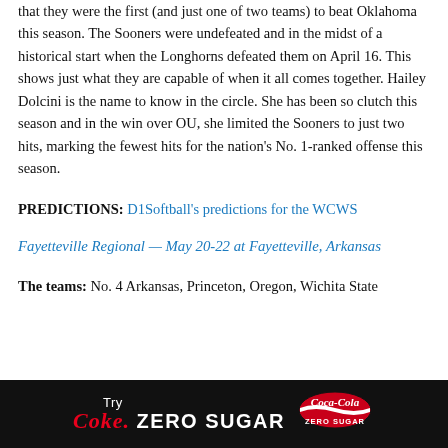a regional, and the first thing to know about the Longhorns is that they were the first (and just one of two teams) to beat Oklahoma this season. The Sooners were undefeated and in the midst of a historical start when the Longhorns defeated them on April 16. This shows just what they are capable of when it all comes together. Hailey Dolcini is the name to know in the circle. She has been so clutch this season and in the win over OU, she limited the Sooners to just two hits, marking the fewest hits for the nation's No. 1-ranked offense this season.
PREDICTIONS: D1Softball's predictions for the WCWS
Fayetteville Regional — May 20-22 at Fayetteville, Arkansas
The teams: No. 4 Arkansas, Princeton, Oregon, Wichita State
[Figure (infographic): Coca-Cola Zero Sugar advertisement banner with black background. Text reads 'Try Coke. ZERO SUGAR' with Coca-Cola Zero Sugar logo on the right.]